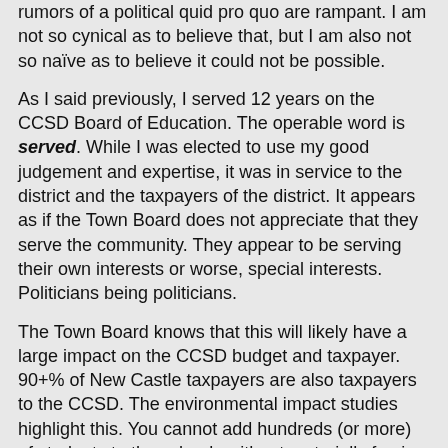rumors of a political quid pro quo are rampant. I am not so cynical as to believe that, but I am also not so naïve as to believe it could not be possible.
As I said previously, I served 12 years on the CCSD Board of Education. The operable word is served. While I was elected to use my good judgement and expertise, it was in service to the district and the taxpayers of the district. It appears as if the Town Board does not appreciate that they serve the community. They appear to be serving their own interests or worse, special interests. Politicians being politicians.
The Town Board knows that this will likely have a large impact on the CCSD budget and taxpayer. 90+% of New Castle taxpayers are also taxpayers to the CCSD. The environmental impact studies highlight this. You cannot add hundreds (or more) of students to the schools without materially forcing an increase in the CCSD's budget and thus raising taxes. It is disingenuous of the Town Board to not consider the effect on the CCSD taxpayer when the overlap is so material.